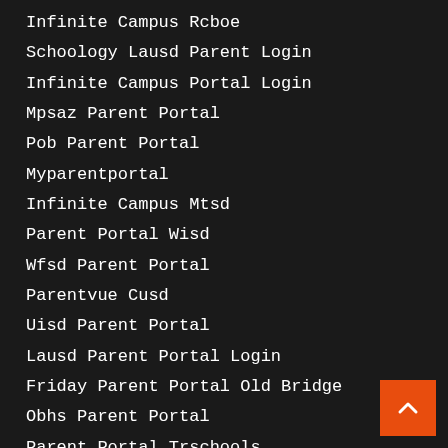Infinite Campus Rcboe
Schoology Lausd Parent Login
Infinite Campus Portal Login
Mpsaz Parent Portal
Pob Parent Portal
Myparentportal
Infinite Campus Mtsd
Parent Portal Wisd
Wfsd Parent Portal
Parentvue Cusd
Uisd Parent Portal
Lausd Parent Portal Login
Friday Parent Portal Old Bridge
Obhs Parent Portal
Parent Portal Trschools
Txconnect Parent Portal
Osta Parent Portal
Parent Portal Student Login